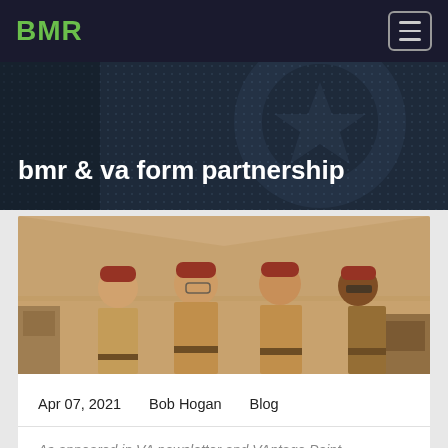BMR
bmr & va form partnership
[Figure (photo): Four military personnel in tan uniforms and red caps standing together inside a tent or shelter]
Apr 07, 2021    Bob Hogan    Blog
As appeared in VA newsletter and VAntage Point